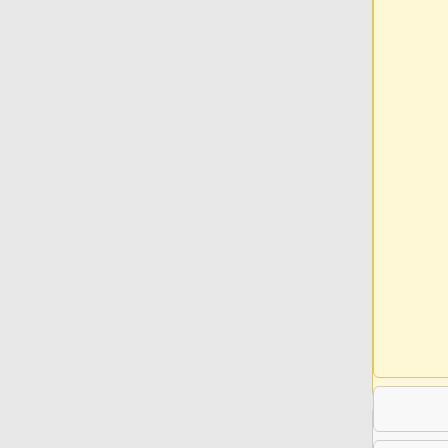cture MAY participate in the accreditation standards process of the IGTF through formal membership of the IGTF member Policy Management Authorities.
re MAY participate in the accreditation standards process of the IGTF through formal membership of the IGTF member Policy Management Authorities.
== Definition of approved authenticati
== Definition of approved authenticati